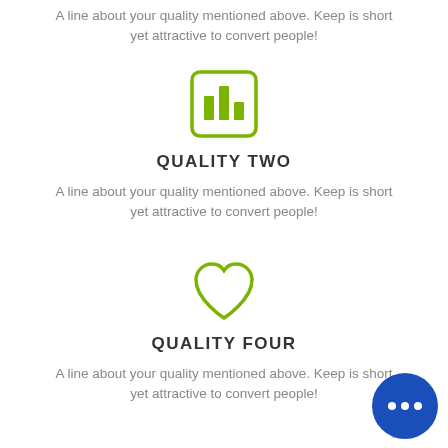A line about your quality mentioned above. Keep is short yet attractive to convert people!
[Figure (illustration): Bar chart icon in a rounded square, olive/green colored]
QUALITY TWO
A line about your quality mentioned above. Keep is short yet attractive to convert people!
[Figure (illustration): Heart outline icon, olive/green colored]
QUALITY FOUR
A line about your quality mentioned above. Keep is short yet attractive to convert people!